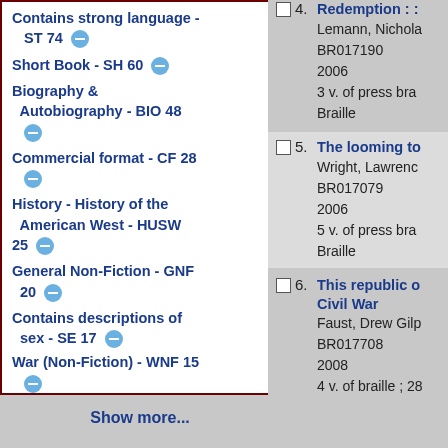Contains strong language - ST 74
Short Book - SH 60
Biography & Autobiography - BIO 48
Commercial format - CF 28
History - History of the American West - HUSW 25
General Non-Fiction - GNF 20
Contains descriptions of sex - SE 17
War (Non-Fiction) - WNF 15
Show more...
4. Redemption : : Lemann, Nichola
BR017190
2006
3 v. of press bra
Braille
5. The looming to Wright, Lawrenc
BR017079
2006
5 v. of press bra
Braille
6. This republic o Civil War Faust, Drew Gilp
BR017708
2008
4 v. of braille ; 28